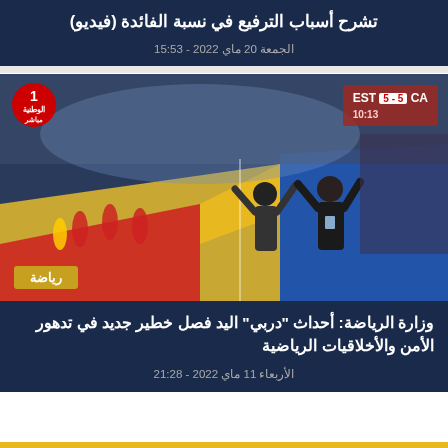تشرح أسباب الترفيع في نسبة الفائدة (فيديو)
الجمعة 20 ماي 2022 - 15:53
[Figure (photo): Handball court scene showing EST vs CA match (score 5-5, time 10:13) with people celebrating on the court and crowd in the background. TV channel logo 'الوطنية 1 مباشر' visible in top-left. Sports badge 'رياضة' in bottom-left.]
وزارة الرياضة: أحداث "دربي" اليد فصل خطير جديد في تدهور الأمن والأخلاقيات الرياضية
الأربعاء 11 ماي 2022 - 21:28